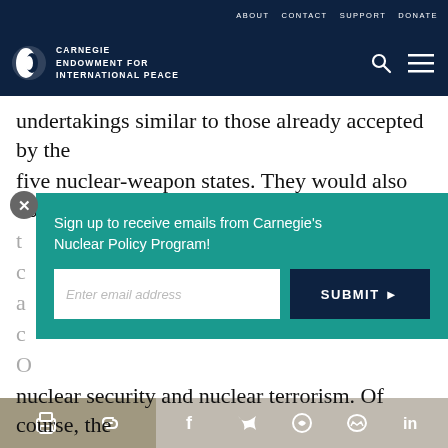ABOUT  CONTACT  SUPPORT  DONATE
CARNEGIE ENDOWMENT FOR INTERNATIONAL PEACE
undertakings similar to those already accepted by the five nuclear-weapon states. They would also oblige t[...] c[...] a[...] c[...] O[...] nuclear security and nuclear terrorism. Of course, the
Sign up to receive emails from Carnegie's Nuclear Policy Program!
Enter email address
SUBMIT ▶
Social share bar: print, link, Facebook, Twitter, WhatsApp, Messenger, LinkedIn